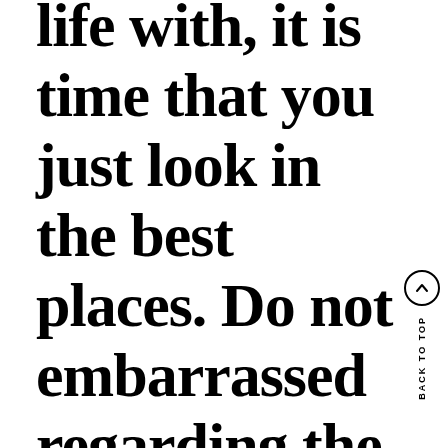life with, it is time that you just look in the best places. Do not embarrassed regarding the fact